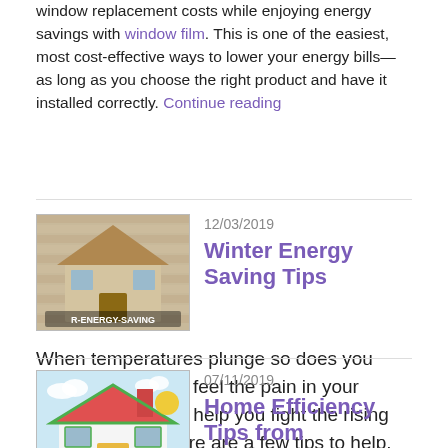window replacement costs while enjoying energy savings with window film. This is one of the easiest, most cost-effective ways to lower your energy bills—as long as you choose the right product and have it installed correctly. Continue reading
[Figure (photo): Thumbnail image of a small wooden house model wrapped in a knitted sweater, with text R-ENERGY-SAVING visible, representing winter energy saving concept]
12/03/2019
Winter Energy Saving Tips
When temperatures plunge so does you bank account. We feel the pain in your wallet and want to help you fight the rising cost of energy. Here are a few tips to help. Continue reading
[Figure (logo): Thumbnail image of a colorful cartoon house with solar panels, green lawn and sky background, labeled Home Efficiency Tips]
07/11/2019
Home Efficiency Tips from Window Genie